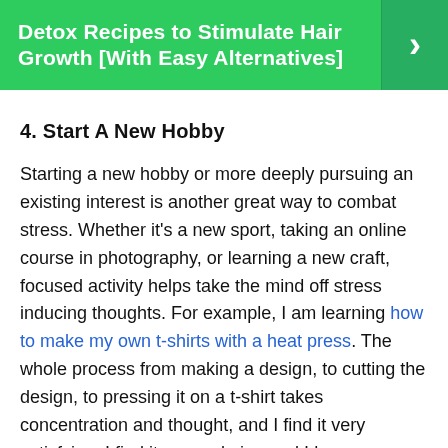Detox Recipes to Stimulate Hair Growth [With Easy Alternatives]
4. Start A New Hobby
Starting a new hobby or more deeply pursuing an existing interest is another great way to combat stress. Whether it's a new sport, taking an online course in photography, or learning a new craft, focused activity helps take the mind off stress inducing thoughts. For example, I am learning how to make my own t-shirts with a heat press. The whole process from making a design, to cutting the design, to pressing it on a t-shirt takes concentration and thought, and I find it very satisfying. I find it very calming and I have a fantastic product to give away or sell at the end!